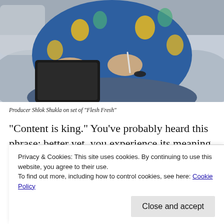[Figure (photo): Person wearing a blue pineapple-print short-sleeve shirt, sitting on a couch, holding a tablet and stylus, writing or drawing. Wearing a dark bracelet. Jeans visible.]
Producer Shlok Shukla on set of "Flesh Fresh"
“Content is king.” You’ve probably heard this phrase; better yet, you experience its meaning every day. In a world of scrolling newsfeeds, unoriginal remakes, and generic concepts
Privacy & Cookies: This site uses cookies. By continuing to use this website, you agree to their use.
To find out more, including how to control cookies, see here: Cookie Policy
Close and accept